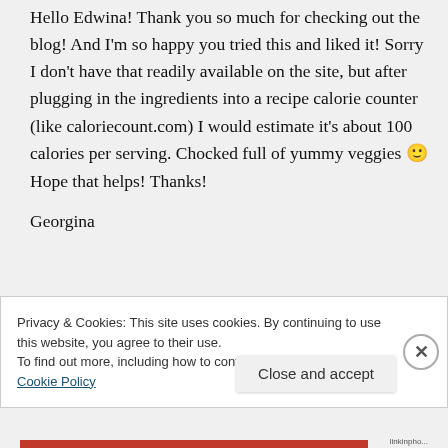Hello Edwina! Thank you so much for checking out the blog! And I'm so happy you tried this and liked it! Sorry I don't have that readily available on the site, but after plugging in the ingredients into a recipe calorie counter (like caloriecount.com) I would estimate it's about 100 calories per serving. Chocked full of yummy veggies 🙂 Hope that helps! Thanks!
Georgina
Privacy & Cookies: This site uses cookies. By continuing to use this website, you agree to their use. To find out more, including how to control cookies, see here: Cookie Policy
Close and accept